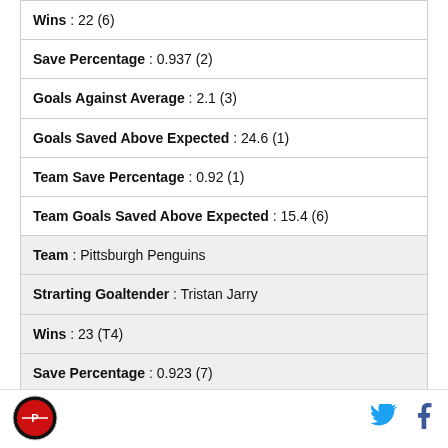Wins : 22 (6)
Save Percentage : 0.937 (2)
Goals Against Average : 2.1 (3)
Goals Saved Above Expected : 24.6 (1)
Team Save Percentage : 0.92 (1)
Team Goals Saved Above Expected : 15.4 (6)
Team : Pittsburgh Penguins
Strarting Goaltender : Tristan Jarry
Wins : 23 (T4)
Save Percentage : 0.923 (7)
Goals Against Average : 2.21 (6)
[Figure (logo): Sports logo in footer, circular red/black emblem]